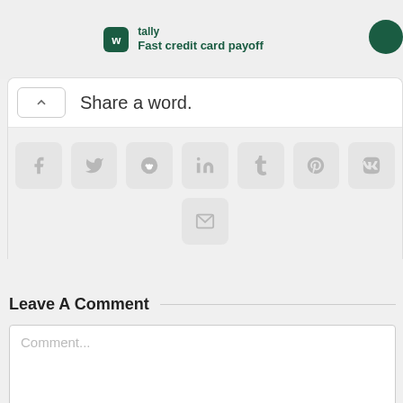[Figure (screenshot): Tally app advertisement banner with logo and tagline 'Fast credit card payoff']
Share a word.
[Figure (screenshot): Social share buttons: Facebook, Twitter, Reddit, LinkedIn, Tumblr, Pinterest, VK, Email]
Leave A Comment
Comment...